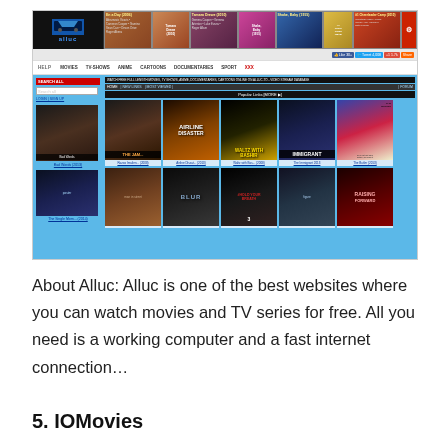[Figure (screenshot): Screenshot of Alluc.to website showing the homepage with navigation bar (HELP, MOVIES, TV-SHOWS, ANIME, CARTOONS, DOCUMENTARIES, SPORT, XXX), search sidebar, movie poster grid including Bad Words (2013), The Single Mom... (2014), Razoo Imalien... (2008), Airline Disast... (2010), Waltz with Bas... (2008), The Immigrant 2013, The Butler (2013), and more movie thumbnails in a second row.]
About Alluc: Alluc is one of the best websites where you can watch movies and TV series for free. All you need is a working computer and a fast internet connection…
5. IOMovies